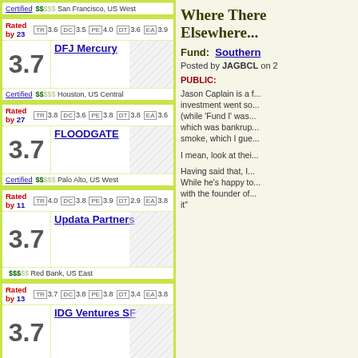| Score | Fund | Details |
| --- | --- | --- |
| 3.7 | DFJ Mercury | Rated by 23 | TR 3.6 DC 3.5 PE 4.0 DT 3.6 EA 3.9 | Certified | $$$$$ Houston, US Central |
| 3.7 | FLOODGATE | Rated by 27 | TR 3.8 DC 3.6 PE 3.8 DT 3.8 EA 3.6 | Certified | $$$$$ Palo Alto, US West |
| 3.7 | Updata Partners | Rated by 11 | TR 4.0 DC 3.8 PE 3.9 DT 2.9 EA 3.8 | $$$$$ Red Bank, US East |
| 3.7 | IDG Ventures SF | Rated by 13 | TR 3.7 DC 3.8 PE 3.8 DT 3.4 EA 3.8 | Certified | $$$$$ San Francisco, US West |
Where There Is Smoke Elsewhere...
Fund: Southern
Posted by JAGBCL on 2
PUBLIC:
Jason Caplain is a f... investment went so... (while 'Fund I' was... which was bankrup... smoke, which I gue...
I mean, look at thei...
Having said that, I... While he's happy to... with the founder of... it"